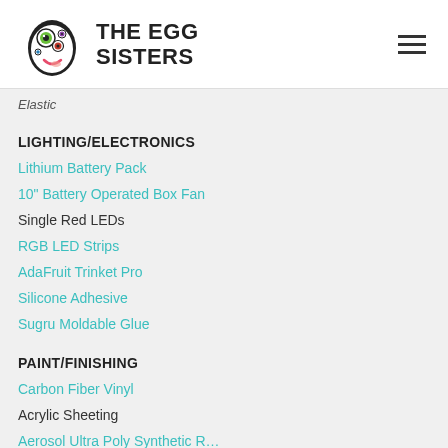[Figure (logo): The Egg Sisters logo: egg-shaped character with cartoon eyes and a hamburger menu icon in the top right]
Elastic
LIGHTING/ELECTRONICS
Lithium Battery Pack
10" Battery Operated Box Fan
Single Red LEDs
RGB LED Strips
AdaFruit Trinket Pro
Silicone Adhesive
Sugru Moldable Glue
PAINT/FINISHING
Carbon Fiber Vinyl
Acrylic Sheeting
Aerosol Ultra Poly Synthetic R…